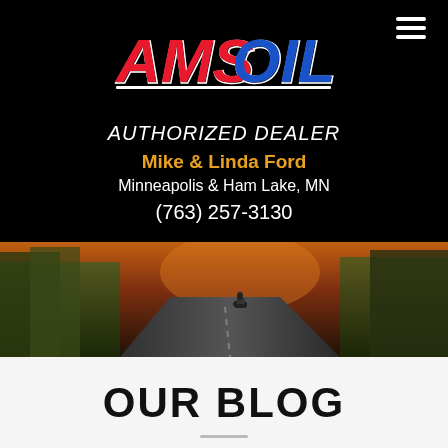[Figure (logo): AMSOIL logo in red and blue stylized lettering on black background]
AUTHORIZED DEALER
Mike & Linda Ford
Minneapolis & Ham Lake, MN
(763) 257-3130
[Figure (photo): A motorcyclist riding on a curved road through an autumn forest, warm golden light, scenic landscape]
OUR BLOG
Snowmobile Safety Tips Every Rider